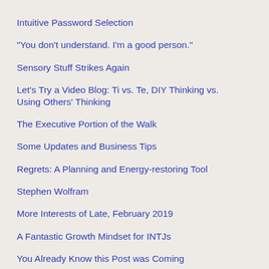Intuitive Password Selection
"You don't understand. I'm a good person."
Sensory Stuff Strikes Again
Let's Try a Video Blog: Ti vs. Te, DIY Thinking vs. Using Others' Thinking
The Executive Portion of the Walk
Some Updates and Business Tips
Regrets: A Planning and Energy-restoring Tool
Stephen Wolfram
More Interests of Late, February 2019
A Fantastic Growth Mindset for INTJs
You Already Know this Post was Coming